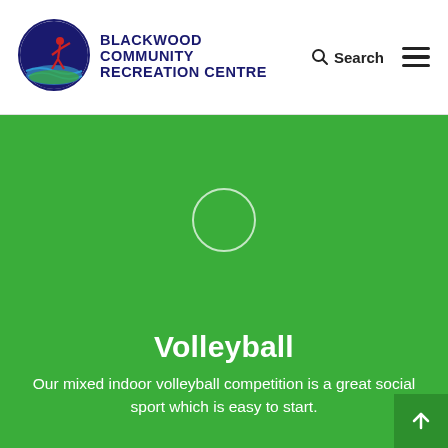[Figure (logo): Blackwood Community Recreation Centre logo: circular emblem with stylized figure, waves, and green/red/blue colors]
BLACKWOOD COMMUNITY RECREATION CENTRE
[Figure (photo): Green background video placeholder with circular play button outline]
Volleyball
Our mixed indoor volleyball competition is a great social sport which is easy to start.